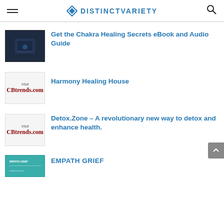DISTINCTVARIETY
Get the Chakra Healing Secrets eBook and Audio Guide
Harmony Healing House
Detox.Zone – A revolutionary new way to detox and enhance health.
EMPATH GRIEF